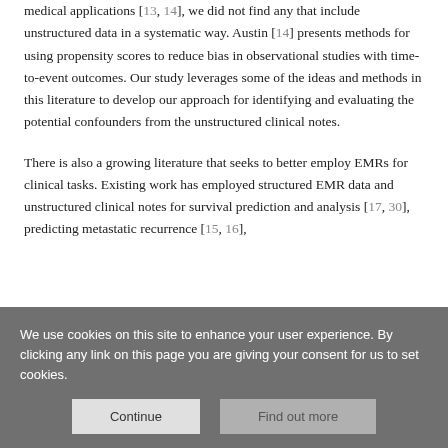medical applications [13, 14], we did not find any that include unstructured data in a systematic way. Austin [14] presents methods for using propensity scores to reduce bias in observational studies with time-to-event outcomes. Our study leverages some of the ideas and methods in this literature to develop our approach for identifying and evaluating the potential confounders from the unstructured clinical notes.
There is also a growing literature that seeks to better employ EMRs for clinical tasks. Existing work has employed structured EMR data and unstructured clinical notes for survival prediction and analysis [17, 30], predicting metastatic recurrence [15, 16], clinical risk prediction [31], and prediction of high-cost clinical...
We use cookies on this site to enhance your user experience. By clicking any link on this page you are giving your consent for us to set cookies.